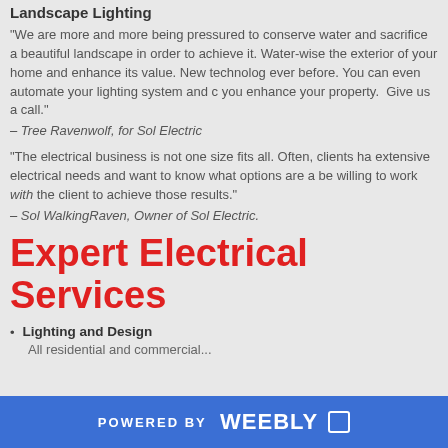Landscape Lighting
"We are more and more being pressured to conserve water and sacrifice a beautiful landscape in order to achieve it. Water-wise the exterior of your home and enhance its value. New technologies ever before. You can even automate your lighting system and c you enhance your property.  Give us a call."
– Tree Ravenwolf, for Sol Electric
"The electrical business is not one size fits all. Often, clients have extensive electrical needs and want to know what options are a be willing to work with the client to achieve those results."
– Sol WalkingRaven, Owner of Sol Electric.
Expert Electrical Services
Lighting and Design
All residential and commercial...